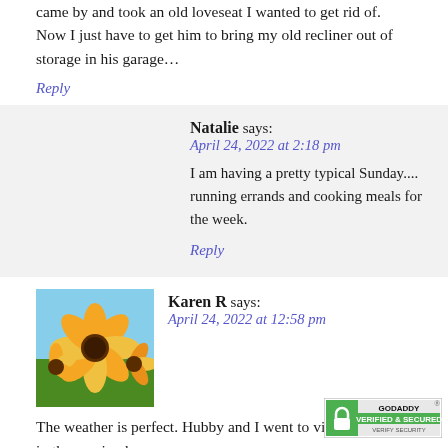came by and took an old loveseat I wanted to get rid of. Now I just have to get him to bring my old recliner out of storage in his garage…
Reply
Natalie says: April 24, 2022 at 2:18 pm
I am having a pretty typical Sunday.... running errands and cooking meals for the week.
Reply
Karen R says: April 24, 2022 at 12:58 pm
[Figure (photo): Avatar image of orange/yellow flowers (marigolds)]
The weather is perfect. Hubby and I went to visit his father in the nursing home.
Reply
[Figure (logo): GoDaddy Verified & Secured badge]